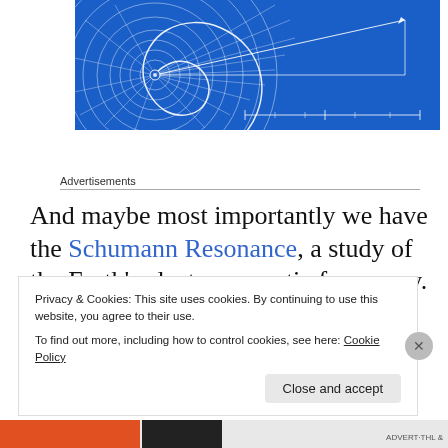[Figure (engineering-diagram): Blue background engineering/scientific diagram showing a spiral (Archimedean or golden spiral) with white grid lines radiating outward, resembling a polar coordinate chart with concentric circles, and a triangular projection line extending to the right.]
Advertisements
And maybe most importantly we have the Schumann Resonance, a study of the Earth's electromagnetic frequency. In these studies it
Privacy & Cookies: This site uses cookies. By continuing to use this website, you agree to their use.
To find out more, including how to control cookies, see here: Cookie Policy
Close and accept